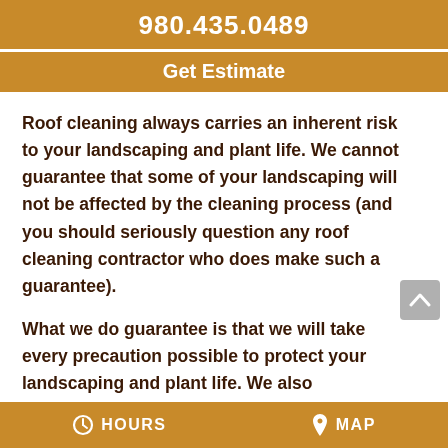980.435.0489
Get Estimate
Roof cleaning always carries an inherent risk to your landscaping and plant life.  We cannot guarantee that some of your landscaping will not be affected by the cleaning process (and you should seriously question any roof cleaning contractor who does make such a guarantee).
What we do guarantee is that we will take every precaution possible to protect your landscaping and plant life.  We also guarantee that if something negative does happen after your cleaning service, we will be there for you to help
HOURS   MAP